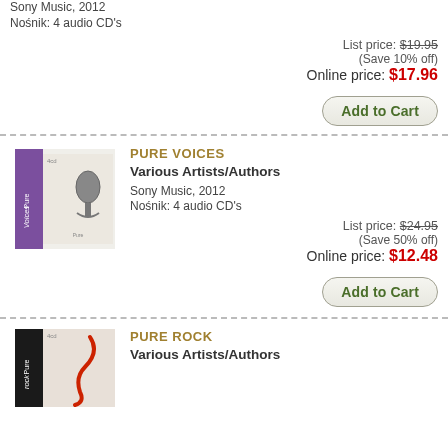Sony Music, 2012
Nośnik: 4 audio CD's
List price: $19.95
(Save 10% off)
Online price: $17.96
Add to Cart
[Figure (photo): Album cover for Pure Voices – white box with purple band and microphone image]
PURE VOICES
Various Artists/Authors
Sony Music, 2012
Nośnik: 4 audio CD's
List price: $24.95
(Save 50% off)
Online price: $12.48
Add to Cart
[Figure (photo): Album cover for Pure Rock – white box with black band and guitar/rock imagery]
PURE ROCK
Various Artists/Authors